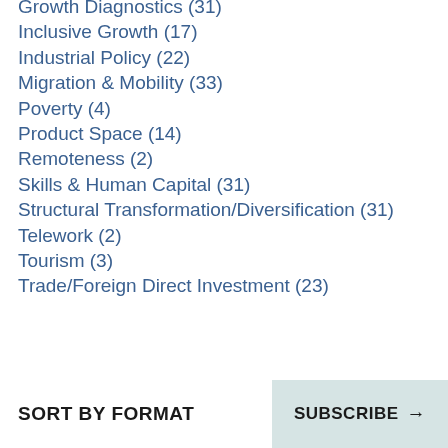Growth Diagnostics (31)
Inclusive Growth (17)
Industrial Policy (22)
Migration & Mobility (33)
Poverty (4)
Product Space (14)
Remoteness (2)
Skills & Human Capital (31)
Structural Transformation/Diversification (31)
Telework (2)
Tourism (3)
Trade/Foreign Direct Investment (23)
SORT BY FORMAT   SUBSCRIBE →